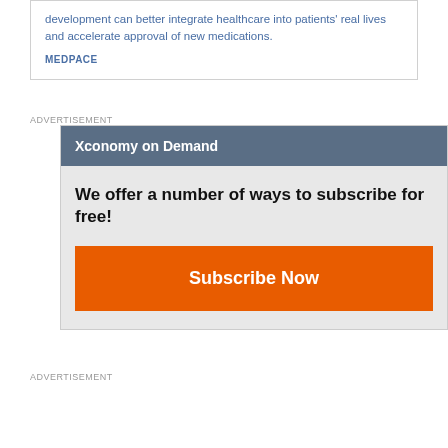development can better integrate healthcare into patients' real lives and accelerate approval of new medications.
MEDPACE
ADVERTISEMENT
[Figure (screenshot): Xconomy on Demand subscription widget with orange Subscribe Now button]
ADVERTISEMENT